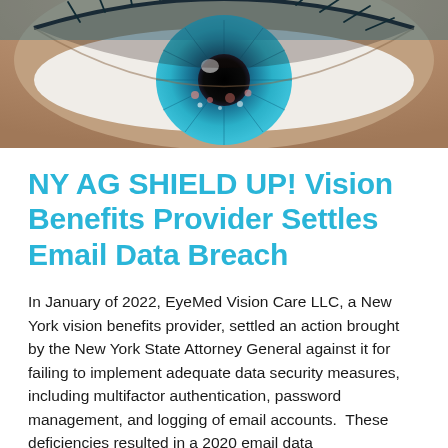[Figure (photo): Close-up photograph of a human eye with bright blue-teal iris, visible eyelashes, and some crystalline or glittery particles on the skin around it.]
NY AG SHIELD UP! Vision Benefits Provider Settles Email Data Breach
In January of 2022, EyeMed Vision Care LLC, a New York vision benefits provider, settled an action brought by the New York State Attorney General against it for failing to implement adequate data security measures, including multifactor authentication, password management, and logging of email accounts.  These deficiencies resulted in a 2020 email data